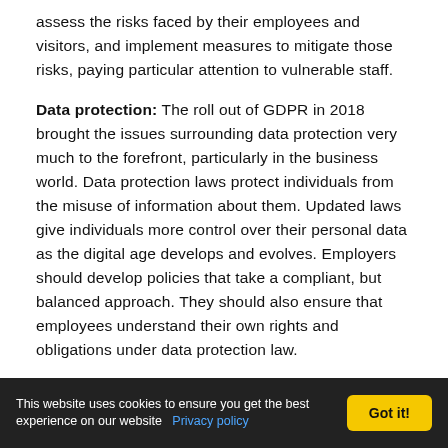assess the risks faced by their employees and visitors, and implement measures to mitigate those risks, paying particular attention to vulnerable staff.
Data protection: The roll out of GDPR in 2018 brought the issues surrounding data protection very much to the forefront, particularly in the business world. Data protection laws protect individuals from the misuse of information about them. Updated laws give individuals more control over their personal data as the digital age develops and evolves. Employers should develop policies that take a compliant, but balanced approach. They should also ensure that employees understand their own rights and obligations under data protection law.
Equality: Equality within a workplace ensures that
This website uses cookies to ensure you get the best experience on our website  Privacy policy  Got it!